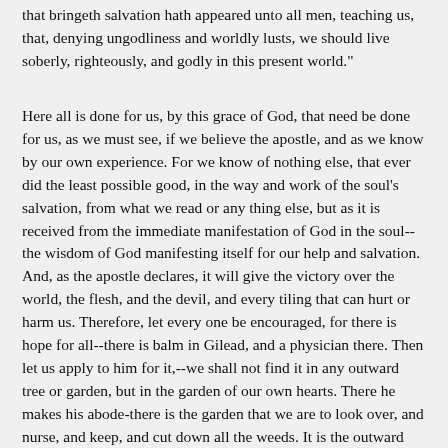that bringeth salvation hath appeared unto all men, teaching us, that, denying ungodliness and worldly lusts, we should live soberly, righteously, and godly in this present world."
Here all is done for us, by this grace of God, that need be done for us, as we must see, if we believe the apostle, and as we know by our own experience. For we know of nothing else, that ever did the least possible good, in the way and work of the soul's salvation, from what we read or any thing else, but as it is received from the immediate manifestation of God in the soul--the wisdom of God manifesting itself for our help and salvation. And, as the apostle declares, it will give the victory over the world, the flesh, and the devil, and every tiling that can hurt or harm us. Therefore, let every one be encouraged, for there is hope for all--there is balm in Gilead, and a physician there. Then let us apply to him for it,--we shall not find it in any outward tree or garden, but in the garden of our own hearts. There he makes his abode-there is the garden that we are to look over, and nurse, and keep, and cut down all the weeds. It is the outward garden that we are to attend to, as it regards our souls' salvation or preservation. Here we deny all unrighteousness and ungodliness, and every thing that hurts and wounds; and it will enable all to love righteousness and to perfect true godliness in the fear of the Lord. Thus we are brought on from step to step, to experience a blessed deliverance---a fall